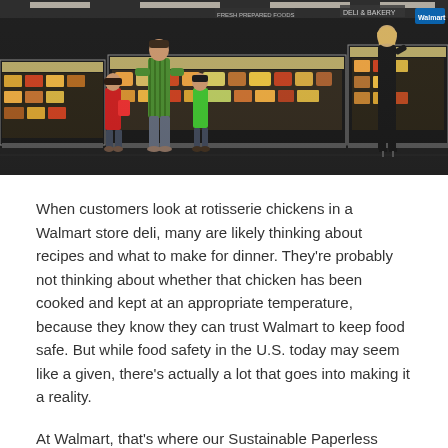[Figure (photo): Interior of a Walmart store deli section showing refrigerated display cases with food items. Customers are visible shopping, including a man in a green striped shirt with two children, and a woman in black on the right side. The store has dark flooring and bright overhead lighting illuminating the food cases.]
When customers look at rotisserie chickens in a Walmart store deli, many are likely thinking about recipes and what to make for dinner. They're probably not thinking about whether that chicken has been cooked and kept at an appropriate temperature, because they know they can trust Walmart to keep food safe. But while food safety in the U.S. today may seem like a given, there's actually a lot that goes into making it a reality.
At Walmart, that's where our Sustainable Paperless Auditing and Record Keeping (SPARK) system comes in — a dynamic tool featuring cutting-edge technologies we're